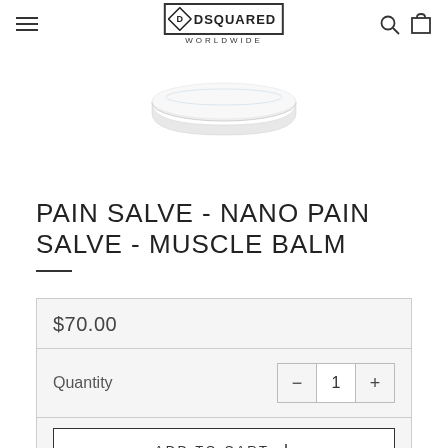DSQUARED WORLDWIDE
[Figure (photo): White round flat container/tin for Pain Salve Nano Pain Salve Muscle Balm product, viewed from above on white background]
PAIN SALVE - NANO PAIN SALVE - MUSCLE BALM
$70.00
Quantity  −  1  +
ADD TO CART +